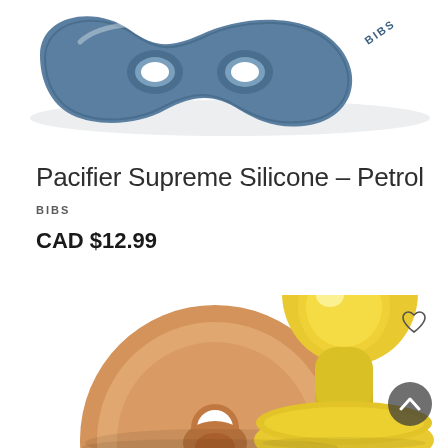[Figure (photo): Close-up of a BIBS pacifier Supreme Silicone in petrol/steel blue color, showing the curved shield and handle of the pacifier from above, with the BIBS logo visible on the side.]
Pacifier Supreme Silicone – Petrol
BIBS
CAD $12.99
[Figure (photo): Two BIBS pacifiers shown from the front and side: one in a warm beige/caramel color showing the round shield face-on with a circular hole, and another showing a yellow/honey-colored pacifier teat and handle from a side angle. Both sit on a white background.]